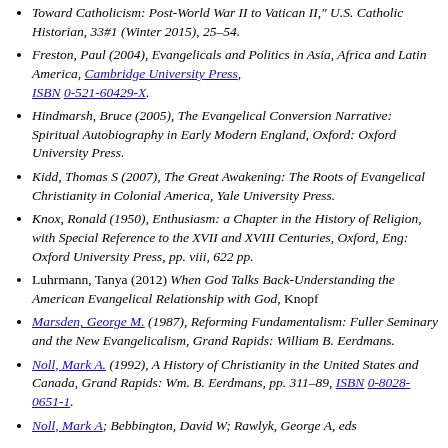Toward Catholicism: Post-World War II to Vatican II," U.S. Catholic Historian, 33#1 (Winter 2015), 25–54.
Freston, Paul (2004), Evangelicals and Politics in Asia, Africa and Latin America, Cambridge University Press, ISBN 0-521-60429-X.
Hindmarsh, Bruce (2005), The Evangelical Conversion Narrative: Spiritual Autobiography in Early Modern England, Oxford: Oxford University Press.
Kidd, Thomas S (2007), The Great Awakening: The Roots of Evangelical Christianity in Colonial America, Yale University Press.
Knox, Ronald (1950), Enthusiasm: a Chapter in the History of Religion, with Special Reference to the XVII and XVIII Centuries, Oxford, Eng: Oxford University Press, pp. viii, 622 pp.
Luhrmann, Tanya (2012) When God Talks Back-Understanding the American Evangelical Relationship with God, Knopf
Marsden, George M. (1987), Reforming Fundamentalism: Fuller Seminary and the New Evangelicalism, Grand Rapids: William B. Eerdmans.
Noll, Mark A. (1992), A History of Christianity in the United States and Canada, Grand Rapids: Wm. B. Eerdmans, pp. 311–89, ISBN 0-8028-0651-1.
Noll, Mark A; Bebbington, David W; Rawlyk, George A, eds